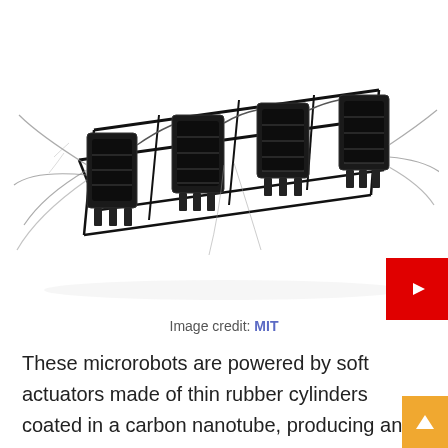[Figure (photo): A robotic insect-like device with four black actuator modules arranged along a rectangular frame, each with small wing-like appendages extending outward. The robot has a ladder-like skeletal structure.]
Image credit: MIT
These microrobots are powered by soft actuators made of thin rubber cylinders coated in a carbon nanotube, producing an electrostatic force that squeezes and elongates the rubber cylinder when